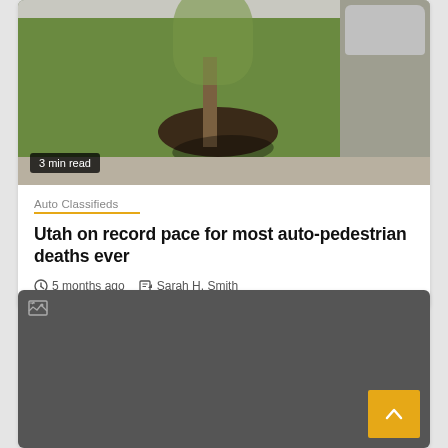[Figure (photo): Outdoor street scene showing a tree with a mulch ring on a grass strip between a sidewalk and road. A silver car is partially visible on the right side. Shadows visible on the ground.]
3 min read
Auto Classifieds
Utah on record pace for most auto-pedestrian deaths ever
5 months ago   Sarah H. Smith
[Figure (photo): Broken/missing image placeholder with dark grey background and small broken image icon in top-left corner.]